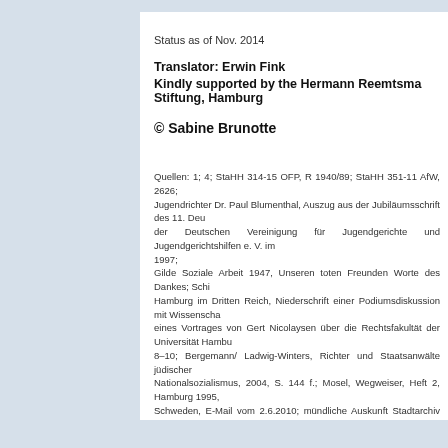Status as of Nov. 2014
Translator: Erwin Fink
Kindly supported by the Hermann Reemtsma Stiftung, Hamburg
© Sabine Brunotte
Quellen: 1; 4; StaHH 314-15 OFP, R 1940/89; StaHH 351-11 AfW, 2626; Jugendrichter Dr. Paul Blumenthal, Auszug aus der Jubiläumsschrift des 11. Deu der Deutschen Vereinigung für Jugendgerichte und Jugendgerichtshilfen e. V. im 1997; Gilde Soziale Arbeit 1947, Unseren toten Freunden Worte des Dankes; Schi Hamburg im Dritten Reich, Niederschrift einer Podiumsdiskussion mit Wissenscha eines Vortrages von Gert Nicolaysen über die Rechtsfakultät der Universität Hambu 8–10; Bergemann/ Ladwig-Winters, Richter und Staatsanwälte jüdischer Nationalsozialismus, 2004, S. 144 f.; Mosel, Wegweiser, Heft 2, Hamburg 1995, Schweden, E-Mail vom 2.6.2010; mündliche Auskunft Stadtarchiv Hannover, Telefo Stadtarchiv Bottrop, E-Mail vom 2.11.2010; schriftliche Auskunft P. Blumenthal, E-Ma Zur Nummerierung häufig genutzter Quellen siehe Link "Recherche und Quellen".
print preview  /  top of page
IMPRINT    CONTACT INFORMATION    The stumbling stone pictu became the 1000th Stumb Gesche Cordes.